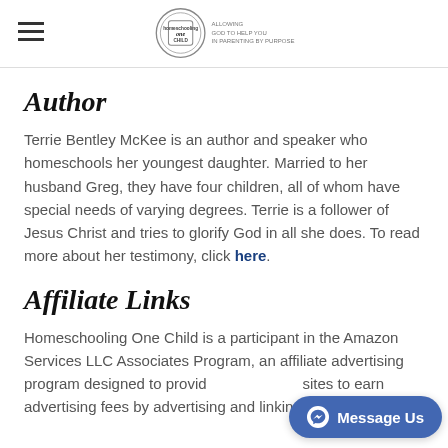Homeschooling One Child — site header with hamburger menu and logo
Author
Terrie Bentley McKee is an author and speaker who homeschools her youngest daughter. Married to her husband Greg, they have four children, all of whom have special needs of varying degrees. Terrie is a follower of Jesus Christ and tries to glorify God in all she does. To read more about her testimony, click here.
Affiliate Links
Homeschooling One Child is a participant in the Amazon Services LLC Associates Program, an affiliate advertising program designed to provide a means for sites to earn advertising fees by advertising and linking